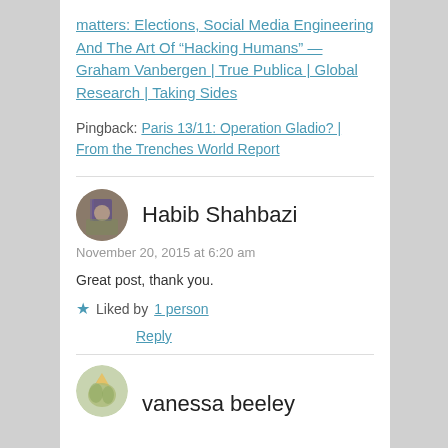matters: Elections, Social Media Engineering And The Art Of "Hacking Humans" — Graham Vanbergen | True Publica | Global Research | Taking Sides
Pingback: Paris 13/11: Operation Gladio? | From the Trenches World Report
Habib Shahbazi
November 20, 2015 at 6:20 am
Great post, thank you.
Liked by 1 person
Reply
vanessa beeley